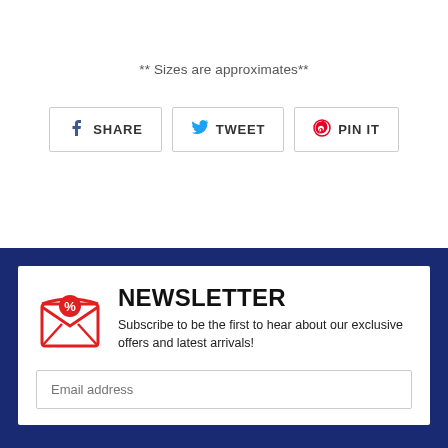** Sizes are approximates**
[Figure (infographic): Social share buttons: Facebook SHARE, Twitter TWEET, Pinterest PIN IT]
NEWSLETTER
Subscribe to be the first to hear about our exclusive offers and latest arrivals!
Email address